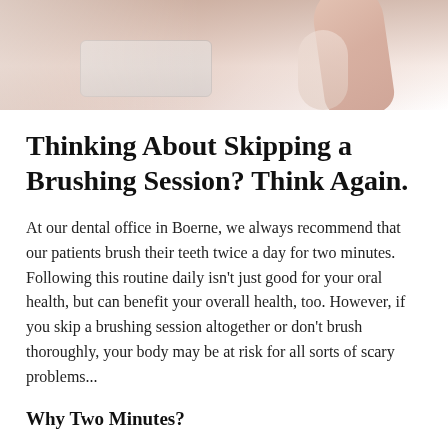[Figure (photo): Photo of a person brushing teeth in front of a bathroom mirror, partially cropped at top of page]
Thinking About Skipping a Brushing Session? Think Again.
At our dental office in Boerne, we always recommend that our patients brush their teeth twice a day for two minutes. Following this routine daily isn't just good for your oral health, but can benefit your overall health, too. However, if you skip a brushing session altogether or don't brush thoroughly, your body may be at risk for all sorts of scary problems...
Why Two Minutes?